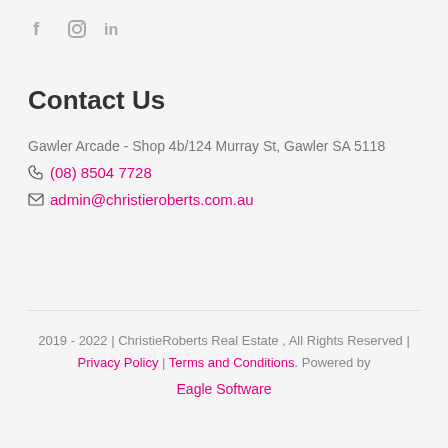[Figure (other): Social media icons: Facebook (f), Instagram (camera), LinkedIn (in)]
Contact Us
Gawler Arcade - Shop 4b/124 Murray St, Gawler SA 5118
(08) 8504 7728
admin@christieroberts.com.au
2019 - 2022 | ChristieRoberts Real Estate , All Rights Reserved | Privacy Policy | Terms and Conditions. Powered by Eagle Software